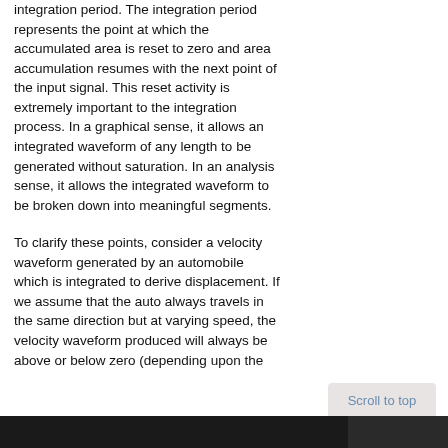integration period. The integration period represents the point at which the accumulated area is reset to zero and area accumulation resumes with the next point of the input signal. This reset activity is extremely important to the integration process. In a graphical sense, it allows an integrated waveform of any length to be generated without saturation. In an analysis sense, it allows the integrated waveform to be broken down into meaningful segments.
To clarify these points, consider a velocity waveform generated by an automobile which is integrated to derive displacement. If we assume that the auto always travels in the same direction but at varying speed, the velocity waveform produced will always be above or below zero (depending upon the